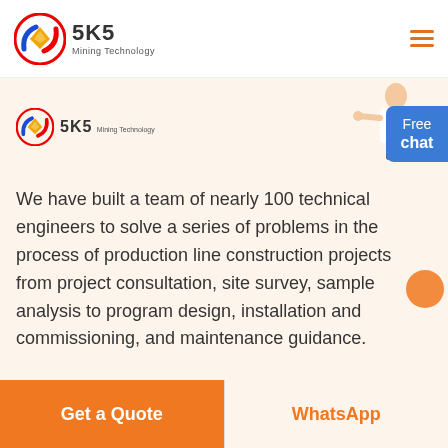SKS Mining Technology
[Figure (logo): SKS Mining Technology logo with circular red/blue/gold emblem and hamburger menu icon]
[Figure (logo): SKS Mining Technology secondary logo in main content area]
[Figure (illustration): Customer service representative figure pointing, with Free chat button]
We have built a team of nearly 100 technical engineers to solve a series of problems in the process of production line construction projects from project consultation, site survey, sample analysis to program design, installation and commissioning, and maintenance guidance.
Get a Quote
WhatsApp